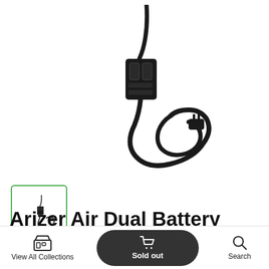[Figure (photo): Black Arizer Air Dual Battery Charger with power cord/cable, shown on white background. The charger has a rectangular body with two battery slots and an attached black power cable with a US plug end.]
[Figure (photo): Small thumbnail image of the same Arizer Air Dual Battery Charger, inside a green-bordered selected thumbnail box with a green checkmark in the bottom-left corner.]
Arizer Air Dual Battery Charger
View All Collections  |  Sold out  |  Search